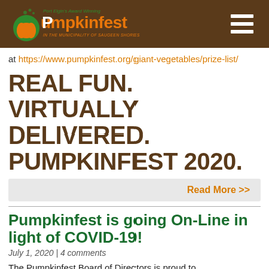Port Elgin's Award Winning Pumpkinfest in the Municipality of Saugeen Shores
at https://www.pumpkinfest.org/giant-vegetables/prize-list/
REAL FUN. VIRTUALLY DELIVERED. PUMPKINFEST 2020.
Read More >>
Pumpkinfest is going On-Line in light of COVID-19!
July 1, 2020 | 4 comments
The Pumpkinfest Board of Directors is proud to